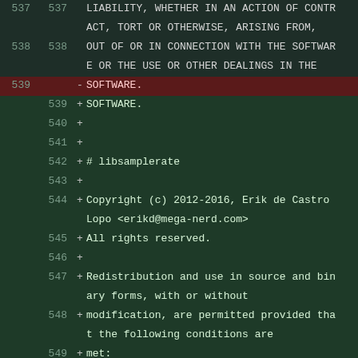[Figure (screenshot): A code diff view showing lines 537-551 of a file. Lines 537-538 are context lines showing license text about liability. Line 539 (deleted, highlighted in dark red) shows '- SOFTWARE.' Line 539-551 (added, shown in dark green) show new content including libsamplerate copyright notice by Erik de Castro Lopo (2012-2016) and beginning of redistribution clause.]